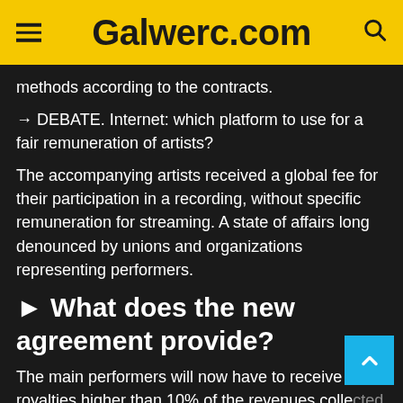Galwerc.com
methods according to the contracts.
→ DEBATE. Internet: which platform to use for a fair remuneration of artists?
The accompanying artists received a global fee for their participation in a recording, without specific remuneration for streaming. A state of affairs long denounced by unions and organizations representing performers.
► What does the new agreement provide?
The main performers will now have to receive royalties higher than 10% of the revenues collected by the producers for streaming, this rate being d...